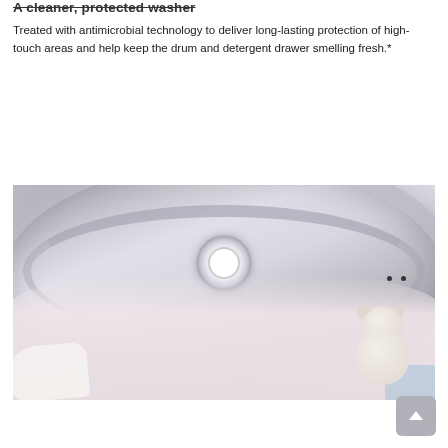A cleaner, protected washer
Treated with antimicrobial technology to deliver long-lasting protection of high-touch areas and help keep the drum and detergent drawer smelling fresh.*
[Figure (photo): Interior view of a front-loading washing machine drum with a white stuffed teddy bear and laundry items inside, shot from the front opening.]
[Figure (other): Scroll-to-top button (light grey rounded square with upward arrow chevron)]